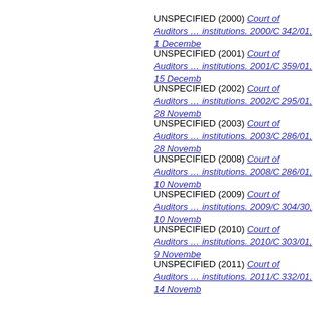UNSPECIFIED (2000) Court of Auditors … institutions. 2000/C 342/01, 1 December
UNSPECIFIED (2001) Court of Auditors … institutions. 2001/C 359/01, 15 December
UNSPECIFIED (2002) Court of Auditors … institutions. 2002/C 295/01, 28 November
UNSPECIFIED (2003) Court of Auditors … institutions. 2003/C 286/01, 28 November
UNSPECIFIED (2008) Court of Auditors … institutions. 2008/C 286/01, 10 November
UNSPECIFIED (2009) Court of Auditors … institutions. 2009/C 304/30, 10 November
UNSPECIFIED (2010) Court of Auditors … institutions. 2010/C 303/01, 9 November
UNSPECIFIED (2011) Court of Auditors … institutions. 2011/C 332/01, 14 November